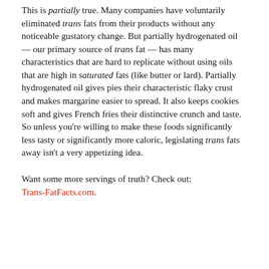This is partially true. Many companies have voluntarily eliminated trans fats from their products without any noticeable gustatory change. But partially hydrogenated oil — our primary source of trans fat — has many characteristics that are hard to replicate without using oils that are high in saturated fats (like butter or lard). Partially hydrogenated oil gives pies their characteristic flaky crust and makes margarine easier to spread. It also keeps cookies soft and gives French fries their distinctive crunch and taste. So unless you're willing to make these foods significantly less tasty or significantly more caloric, legislating trans fats away isn't a very appetizing idea.
Want some more servings of truth? Check out: Trans-FatFacts.com.